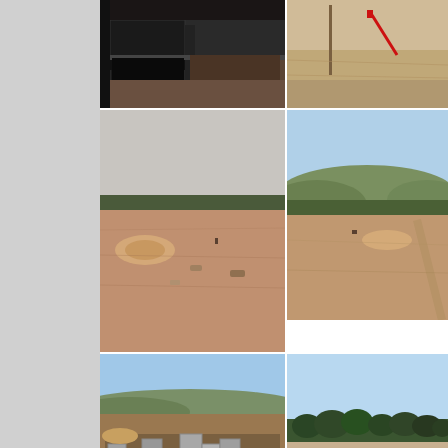[Figure (photo): Construction site showing a dark rectangular structure or tank foundation with concrete walls, set in a dirt area]
[Figure (photo): Aerial or distant view of a field with a red line or marker visible, dry grass terrain]
[Figure (photo): Wide landscape view of a cleared construction site with dirt mounds and debris, overcast sky, tree line in background]
[Figure (photo): Landscape view of cleared land with hills and trees in background, blue sky, construction site area]
Great Locatio
[Figure (photo): Construction site showing concrete foundation blocks and structural elements partially embedded in excavated earth]
[Figure (photo): Wide open cleared land with tree line in background, blue sky, winter or early spring conditions]